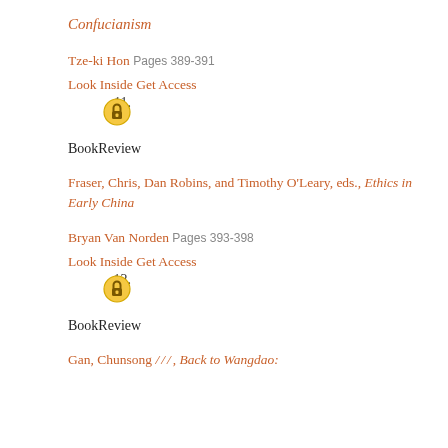Confucianism
Tze-ki Hon Pages 389-391
Look Inside Get Access
11.
BookReview
Fraser, Chris, Dan Robins, and Timothy O'Leary, eds., Ethics in Early China
Bryan Van Norden Pages 393-398
Look Inside Get Access
12.
BookReview
Gan, Chunsong ///, Back to Wangdao: